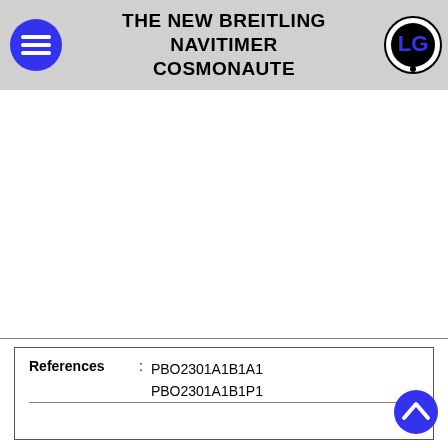THE NEW BREITLING NAVITIMER COSMONAUTE
| References | Values |
| --- | --- |
| References | PBO2301A1B1A1
PBO2301A1B1P1 |